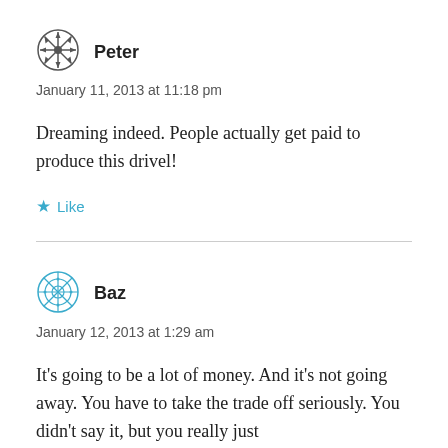[Figure (illustration): Avatar icon for user Peter — decorative compass/snowflake style symbol in dark gray]
Peter
January 11, 2013 at 11:18 pm
Dreaming indeed. People actually get paid to produce this drivel!
★ Like
[Figure (illustration): Avatar icon for user Baz — decorative circular pattern/mesh symbol in teal/cyan]
Baz
January 12, 2013 at 1:29 am
It's going to be a lot of money. And it's not going away. You have to take the trade off seriously. You didn't say it, but you really just